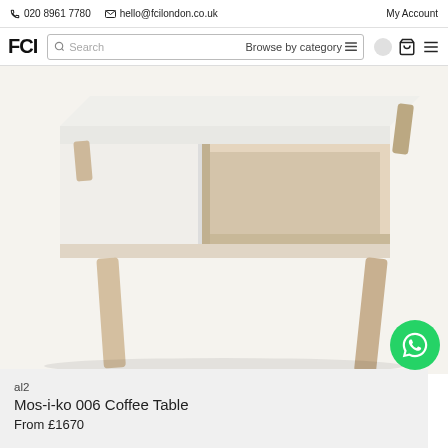020 8961 7780  hello@fcilondon.co.uk  My Account
[Figure (logo): FCI London logo and navigation bar with search and browse by category]
[Figure (photo): Close-up photo of Mos-i-ko 006 Coffee Table showing white body and natural wood legs with open shelf compartment]
al2
Mos-i-ko 006 Coffee Table
From £1670